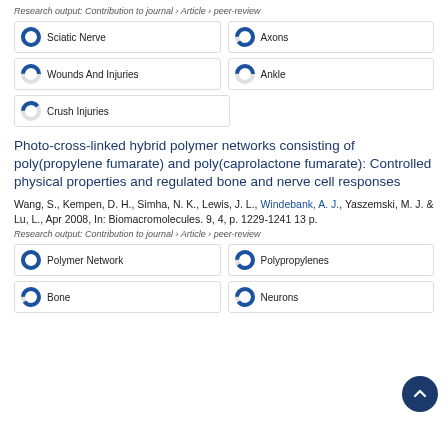Research output: Contribution to journal › Article › peer-review
Sciatic Nerve 100%
Axons 90%
Wounds And Injuries 50%
Ankle 50%
Crush Injuries 40%
Photo-cross-linked hybrid polymer networks consisting of poly(propylene fumarate) and poly(caprolactone fumarate): Controlled physical properties and regulated bone and nerve cell responses
Wang, S., Kempen, D. H., Simha, N. K., Lewis, J. L., Windebank, A. J., Yaszemski, M. J. & Lu, L., Apr 2008, In: Biomacromolecules. 9, 4, p. 1229-1241 13 p.
Research output: Contribution to journal › Article › peer-review
Polymer Network 100%
Polypropylenes 90%
Bone 90%
Neurons 90%